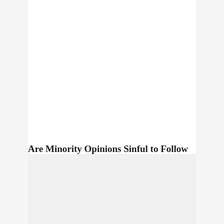Are Minority Opinions Sinful to Follow in Islam?
May 8, 2022
Answered by Shaykh Faraz Rabbani Question I had a question…